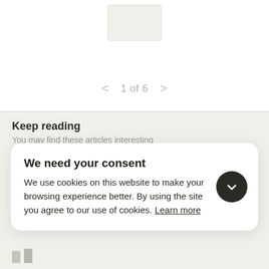[Figure (other): Small rectangular image placeholder with light gray background]
1 of 6
Keep reading
You may find these articles interesting
We need your consent
We use cookies on this website to make your browsing experience better. By using the site you agree to our use of cookies. Learn more